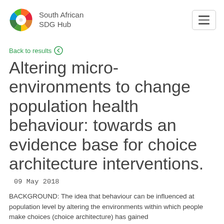South African SDG Hub
Back to results
Altering micro-environments to change population health behaviour: towards an evidence base for choice architecture interventions.
09 May 2018
BACKGROUND: The idea that behaviour can be influenced at population level by altering the environments within which people make choices (choice architecture) has gained